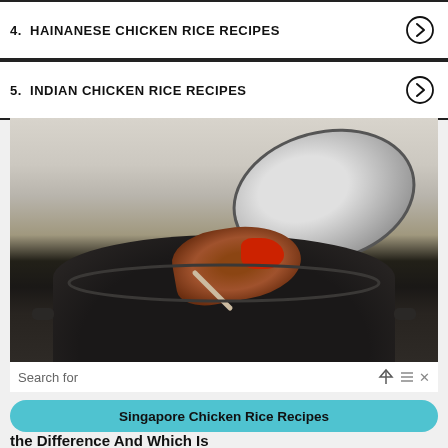4. HAINANESE CHICKEN RICE RECIPES
5. INDIAN CHICKEN RICE RECIPES
[Figure (photo): A rice cooker with lid open showing chicken and vegetables being scooped with a ladle, kitchen background]
Search for
Singapore Chicken Rice Recipes
the Difference and Which Is